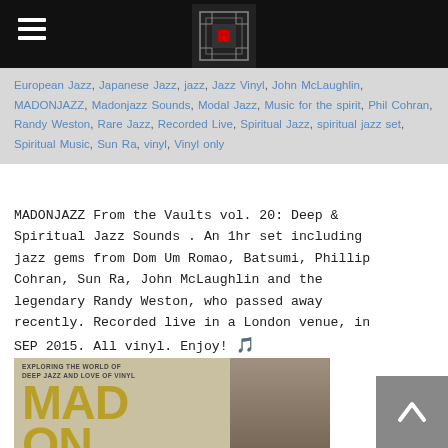Madonjazz header with logo and hamburger menu
European Jazz, Japanese Jazz, jazz, Jazz Vinyl, John McLaughlin, MADONJAZZ, Madonjazz Sounds, Modal Jazz, Music for the spirit, Phil Cohran, Randy Weston, Rare Jazz, Recorded Live, Spiritual Jazz, spiritual jazz set, Spiritual Music, Sun Ra, vinyl, Vinyl only
MADONJAZZ From the Vaults vol. 20: Deep & Spiritual Jazz Sounds . An 1hr set including jazz gems from Dom Um Romao, Batsumi, Phillip Cohran, Sun Ra, John McLaughlin and the legendary Randy Weston, who passed away recently. Recorded live in a London venue, in SEP 2015. All vinyl. Enjoy! 🎵
[Figure (photo): Album cover showing text 'EXPLORING THE WORLD OF DEEP JAZZ AND LOVE OF VINYL' with large gold letters MAD ON and a black and white portrait photo of a person]